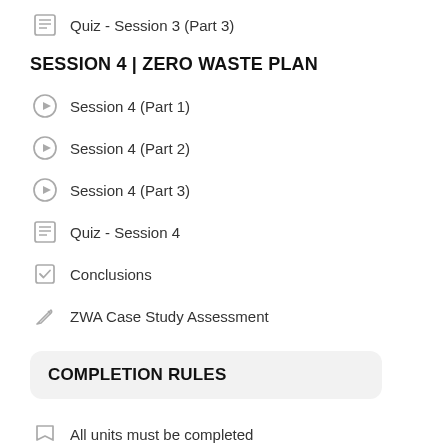Quiz - Session 3 (Part 3)
SESSION 4 | ZERO WASTE PLAN
Session 4 (Part 1)
Session 4 (Part 2)
Session 4 (Part 3)
Quiz - Session 4
Conclusions
ZWA Case Study Assessment
COMPLETION RULES
All units must be completed
Leads to a certification with a duration: 3 years